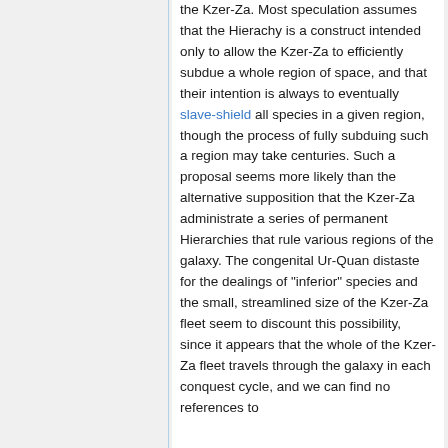the Kzer-Za. Most speculation assumes that the Hierachy is a construct intended only to allow the Kzer-Za to efficiently subdue a whole region of space, and that their intention is always to eventually slave-shield all species in a given region, though the process of fully subduing such a region may take centuries. Such a proposal seems more likely than the alternative supposition that the Kzer-Za administrate a series of permanent Hierarchies that rule various regions of the galaxy. The congenital Ur-Quan distaste for the dealings of "inferior" species and the small, streamlined size of the Kzer-Za fleet seem to discount this possibility, since it appears that the whole of the Kzer-Za fleet travels through the galaxy in each conquest cycle, and we can find no references to